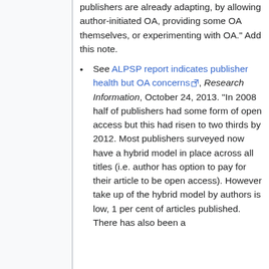publishers are already adapting, by allowing author-initiated OA, providing some OA themselves, or experimenting with OA." Add this note.
See ALPSP report indicates publisher health but OA concerns, Research Information, October 24, 2013. "In 2008 half of publishers had some form of open access but this had risen to two thirds by 2012. Most publishers surveyed now have a hybrid model in place across all titles (i.e. author has option to pay for their article to be open access). However take up of the hybrid model by authors is low, 1 per cent of articles published. There has also been a